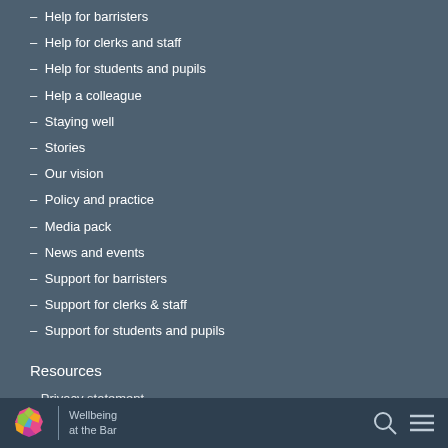- Help for barristers
- Help for clerks and staff
- Help for students and pupils
- Help a colleague
- Staying well
- Stories
- Our vision
- Policy and practice
- Media pack
- News and events
- Support for barristers
- Support for clerks & staff
- Support for students and pupils
Resources
- Privacy statement
Wellbeing at the Bar